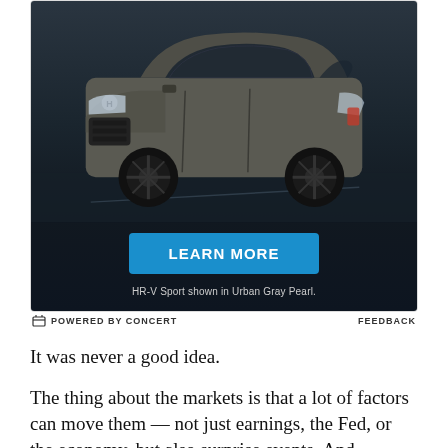[Figure (photo): Honda HR-V Sport SUV advertisement. A gray/dark Honda HR-V Sport SUV is shown driving on a dark road background. Below the car is a blue 'LEARN MORE' button. Caption reads: 'HR-V Sport shown in Urban Gray Pearl.']
POWERED BY CONCERT   FEEDBACK
It was never a good idea.
The thing about the markets is that a lot of factors can move them — not just earnings, the Fed, or the economy, but also surprise events. And sometimes markets just go down because it's time for a